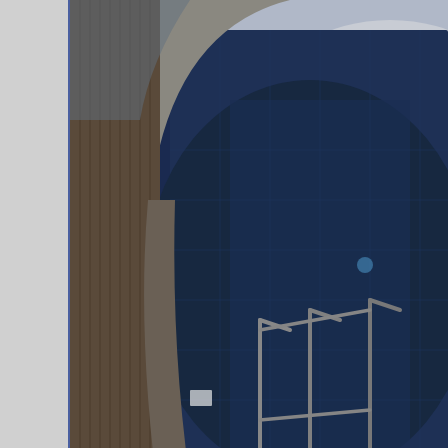[Figure (photo): Aerial or elevated view of a large dark-water swimming pool with curved edges, metal handrails/stairs leading into the pool, and wooden deck surroundings. The water appears dark blue.]
View from the room in the 2nd spot we stayed.
Several years ago John and Laura duPlooy told Sadie and I about a very responsive but Ivan Charoux/Vacances Aventures was so we r killing our plans for that year so we finally got to Mauritius in Novem
The hunting was great fun. All spot and stalk on foot but there are lo That was even more fun as a non trophy was harder to find and iso
The hunt was conducted on 17,000 acres of private ground that is a and on the very steep mountain sides.
The deer were introduces in colonial times as were the pigs, game
Here I should say the terrain is not tough but the footing is incredibl